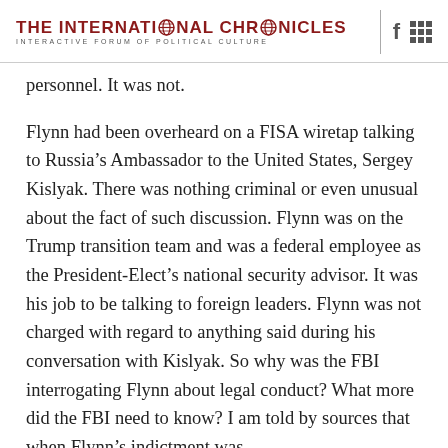THE INTERNATIONAL CHRONICLES
INTERACTIVE FORUM OF POLITICAL CULTURE
personnel. It was not.
Flynn had been overheard on a FISA wiretap talking to Russia’s Ambassador to the United States, Sergey Kislyak. There was nothing criminal or even unusual about the fact of such discussion. Flynn was on the Trump transition team and was a federal employee as the President-Elect’s national security advisor. It was his job to be talking to foreign leaders. Flynn was not charged with regard to anything said during his conversation with Kislyak. So why was the FBI interrogating Flynn about legal conduct? What more did the FBI need to know? I am told by sources that when Flynn’s indictment was